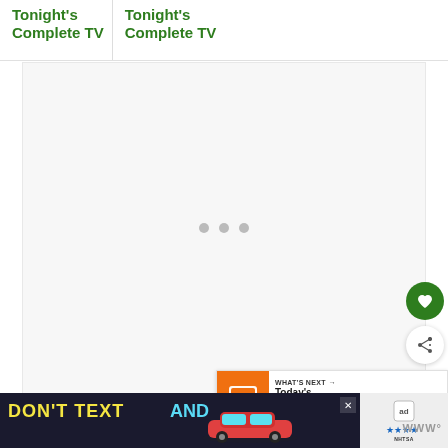Tonight's Complete TV
Tonight's Complete TV
[Figure (screenshot): Large white/light gray content area with three loading dots in the center, indicating content is loading]
[Figure (infographic): Green circular heart/favorite button and white circular share button on the right side]
[Figure (infographic): What's Next banner with orange TV icon, text 'WHAT'S NEXT' with arrow and 'Today's Complete T...' title]
[Figure (screenshot): Advertisement banner: DON'T TEXT AND [car image] with ad label and NHTSA logo, close button]
WWW°